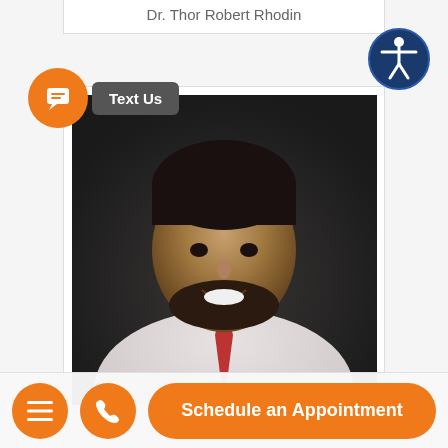Dr. Thor Robert Rhodin
[Figure (photo): Headshot photo of Dr. Suhirad Khokhar, a young man with dark hair and beard wearing a white shirt and red tie, against a dark background]
Dr. Suhirad Khokhar
[Figure (photo): Partial headshot photo of a second doctor, an Asian man wearing glasses and a dark suit with red tie, against a teal/blue background]
Schedule an Appointment